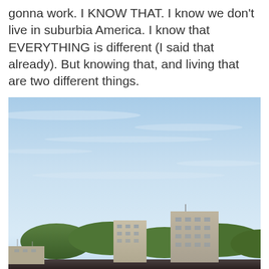gonna work.  I KNOW THAT.  I know we don't live in suburbia America.  I know that EVERYTHING is different (I said that already).  But knowing that, and living that are two different things.
[Figure (photo): Outdoor photograph showing a pale blue sky with light clouds in the upper portion, and below that Soviet-era multi-story residential apartment buildings (panel blocks) partially obscured by green trees in the lower portion of the image.]